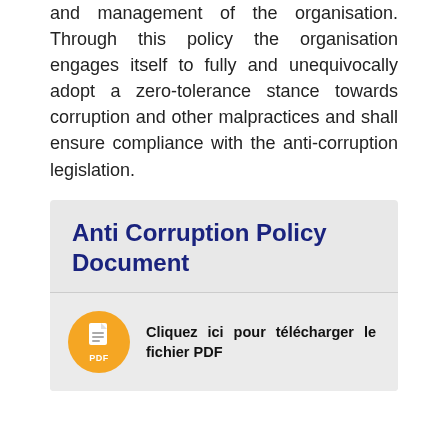and management of the organisation. Through this policy the organisation engages itself to fully and unequivocally adopt a zero-tolerance stance towards corruption and other malpractices and shall ensure compliance with the anti-corruption legislation.
Anti Corruption Policy Document
[Figure (other): Orange circular PDF file icon with document lines and 'PDF' label]
Cliquez ici pour télécharger le fichier PDF